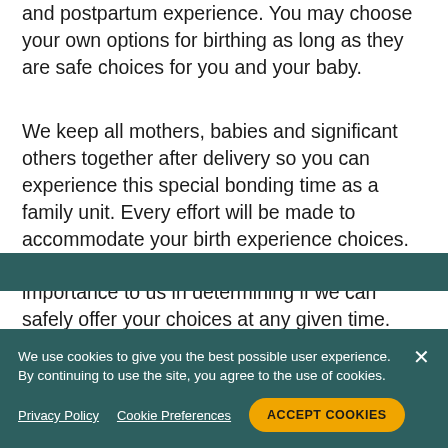and postpartum experience. You may choose your own options for birthing as long as they are safe choices for you and your baby.
We keep all mothers, babies and significant others together after delivery so you can experience this special bonding time as a family unit. Every effort will be made to accommodate your birth experience choices. You and your baby's welfare are of utmost importance to us in determining if we can safely offer your choices at any given time. Discuss your expectations with your family and healthcare provider during pregnancy.
For a comprehensive library of tools and articles to
We use cookies to give you the best possible user experience. By continuing to use the site, you agree to the use of cookies.
Privacy Policy
Cookie Preferences
ACCEPT COOKIES